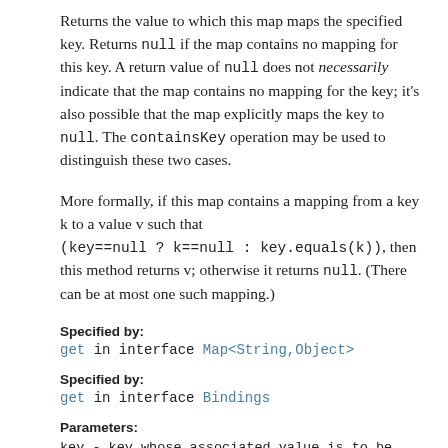Returns the value to which this map maps the specified key. Returns null if the map contains no mapping for this key. A return value of null does not necessarily indicate that the map contains no mapping for the key; it's also possible that the map explicitly maps the key to null. The containsKey operation may be used to distinguish these two cases.
More formally, if this map contains a mapping from a key k to a value v such that (key==null ? k==null : key.equals(k)), then this method returns v; otherwise it returns null. (There can be at most one such mapping.)
Specified by:
get in interface Map<String,Object>
Specified by:
get in interface Bindings
Parameters:
key - key whose associated value is to be returned.